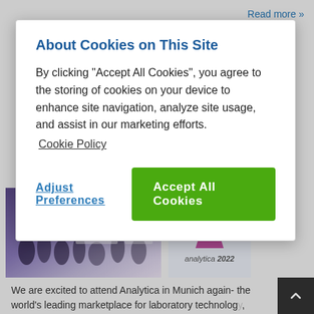Read more »
[Figure (photo): Aerial view of a trade show floor with purple carpet and attendees walking among exhibition booths]
[Figure (logo): Analytica 2022 logo with stylized hourglass/funnel graphic in purple and pink tones]
We are excited to attend Analytica in Munich again- the world's leading marketplace for laboratory technology, analysis and biotechnology is back in live, showcasing everything that moves the lab community, and we ho…
About Cookies on This Site
By clicking “Accept All Cookies”, you agree to the storing of cookies on your device to enhance site navigation, analyze site usage, and assist in our marketing efforts.
Cookie Policy
Adjust Preferences
Accept All Cookies